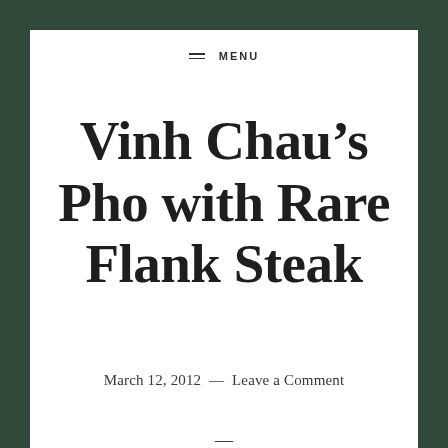MENU
Vinh Chau’s Pho with Rare Flank Steak
March 12, 2012 — Leave a Comment
—